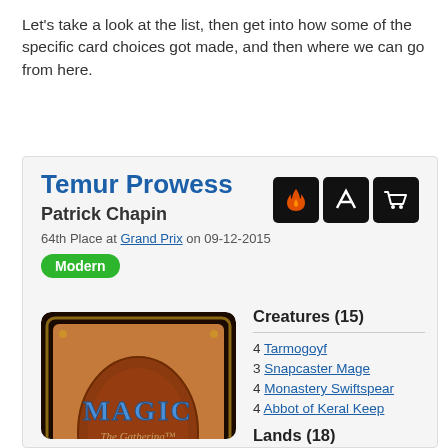Let's take a look at the list, then get into how some of the specific card choices got made, and then where we can go from here.
Temur Prowess
Patrick Chapin
64th Place at Grand Prix on 09-12-2015
Modern
[Figure (photo): Magic: The Gathering card back image]
Creatures (15)
4 Tarmogoyf
3 Snapcaster Mage
4 Monastery Swiftspear
4 Abbot of Keral Keep
Lands (18)